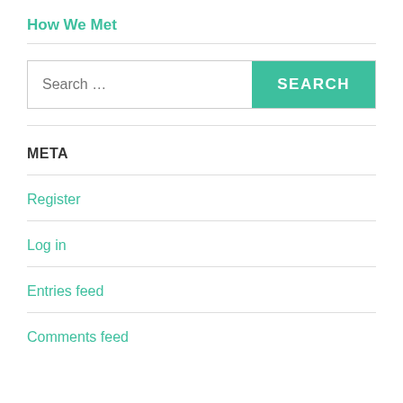How We Met
[Figure (other): Search bar with text input placeholder 'Search ...' and a teal SEARCH button]
META
Register
Log in
Entries feed
Comments feed